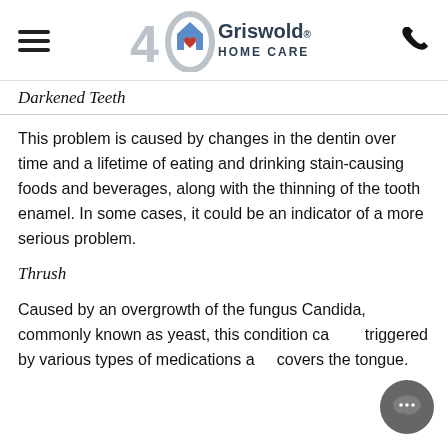Griswold Home Care — navigation header with logo
Darkened Teeth
This problem is caused by changes in the dentin over time and a lifetime of eating and drinking stain-causing foods and beverages, along with the thinning of the tooth enamel. In some cases, it could be an indicator of a more serious problem.
Thrush
Caused by an overgrowth of the fungus Candida, commonly known as yeast, this condition can be triggered by various types of medications and covers the tongue.